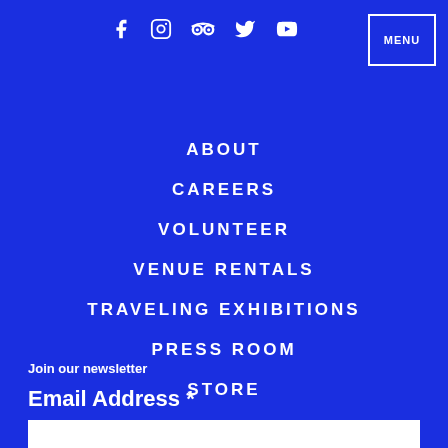[Figure (other): Social media icons row: Facebook, Instagram, Tripadvisor, Twitter, YouTube]
MENU
ABOUT
CAREERS
VOLUNTEER
VENUE RENTALS
TRAVELING EXHIBITIONS
PRESS ROOM
STORE
CONTACT
Join our newsletter
Email Address *